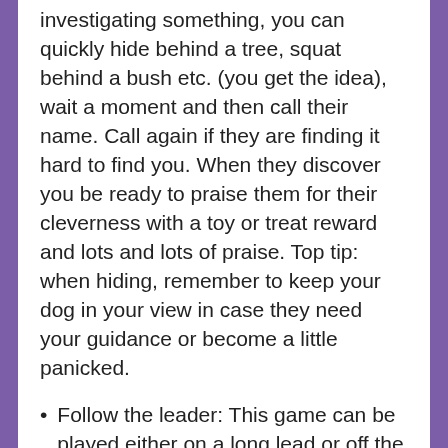investigating something, you can quickly hide behind a tree, squat behind a bush etc. (you get the idea), wait a moment and then call their name. Call again if they are finding it hard to find you. When they discover you be ready to praise them for their cleverness with a toy or treat reward and lots and lots of praise. Top tip: when hiding, remember to keep your dog in your view in case they need your guidance or become a little panicked.
Follow the leader: This game can be played either on a long lead or off the lead completely; all you need is your dog's full attention. With your dog by your side or behind you, and an element of unpredictability, you can vary your speed and make prompt changes of direction. You can try zigzagging, circling, retracing your